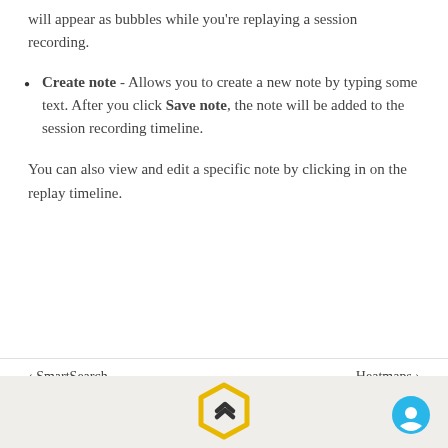will appear as bubbles while you're replaying a session recording.
Create note - Allows you to create a new note by typing some text. After you click Save note, the note will be added to the session recording timeline.
You can also view and edit a specific note by clicking in on the replay timeline.
< SmartSearch    Heatmaps >
[Figure (logo): Yellow hexagon logo with a right-pointing chevron, and a blue circular chat button in the bottom footer band.]